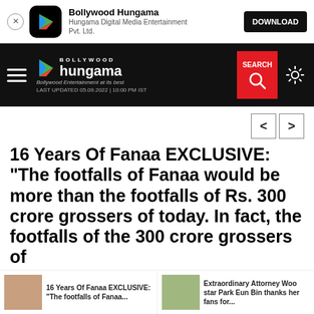[Figure (screenshot): Bollywood Hungama app download banner with app icon, name, description and DOWNLOAD button]
[Figure (screenshot): Bollywood Hungama website navigation bar with hamburger menu, logo, search button and settings icon. Shows LAST UPDATED 05.09.2022 | 10:00 PM IST]
16 Years Of Fanaa EXCLUSIVE: “The footfalls of Fanaa would be more than the footfalls of Rs. 300 crore grossers of today. In fact, the footfalls of the 300 crore grossers of
[Figure (screenshot): Bottom thumbnail strip showing two article previews: '16 Years Of Fanaa EXCLUSIVE: "The footfalls of Fanaa...' and 'Extraordinary Attorney Woo star Park Eun Bin thanks her fans for...']